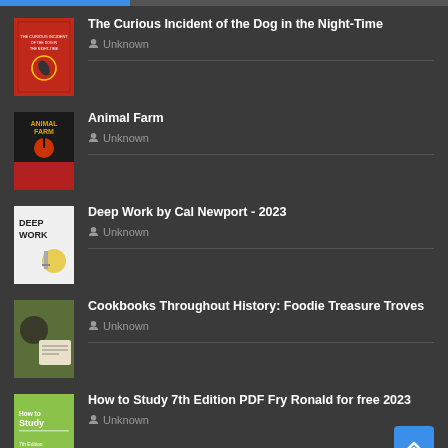The Curious Incident of the Dog in the Night-Time — Unknown
Animal Farm — Unknown
Deep Work by Cal Newport - 2023 — Unknown
Cookbooks Throughout History: Foodie Treasure Troves — Unknown
How to Study 7th Edition PDF Fry Ronald for free 2023 — Unknown